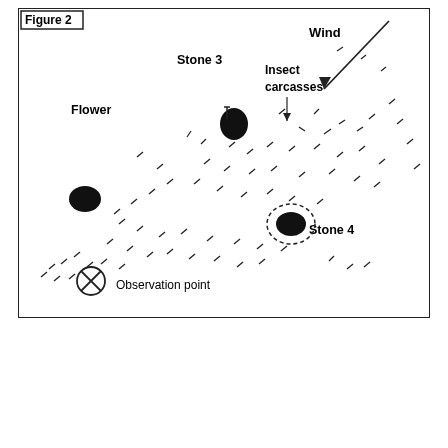[Figure (illustration): Field diagram (Figure 2) showing spatial distribution of ants (dashed marks) around landmarks: Flower (black blob, left), Stone 3 (black blob with stick, upper center), Stone 4 (black blob with dashed circle, lower right), Insect carcasses (labeled with arrow, upper center-right), Observation point (circled X symbol, lower left), and Wind arrow (upper right). Ants depicted as small dashes scattered across the area.]